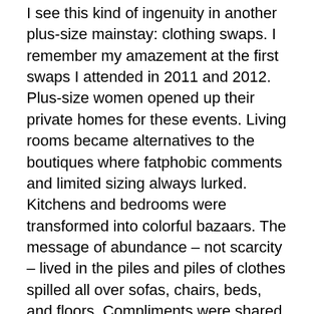I see this kind of ingenuity in another plus-size mainstay: clothing swaps. I remember my amazement at the first swaps I attended in 2011 and 2012. Plus-size women opened up their private homes for these events. Living rooms became alternatives to the boutiques where fatphobic comments and limited sizing always lurked. Kitchens and bedrooms were transformed into colorful bazaars. The message of abundance – not scarcity – lived in the piles and piles of clothes spilled all over sofas, chairs, beds, and floors. Compliments were shared easily and generously. We were frequently reminded that there was enough for everyone, creating an opportunity to engage with clothes in a non-competitive way.
Unlike the Big Box urge to create a one-size-fits-all experience, each swap had different rules. At one swap we were asked to take into account our privilege as we chose which items to take, and to leave items in hard-to-find sizes unless we really planned to wear them often. During another, we were instructed that if we were swapping a particularly meaningful item of